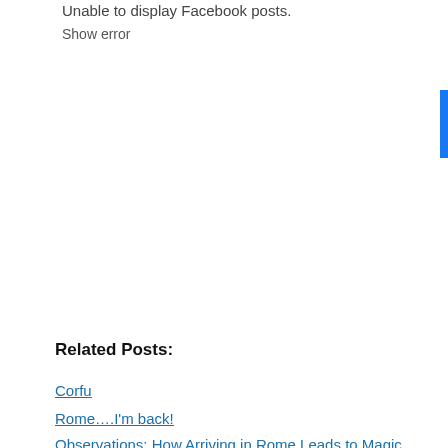Unable to display Facebook posts.
Show error
Related Posts:
Corfu
Rome….I'm back!
Observations: How Arriving in Rome Leads to Magic